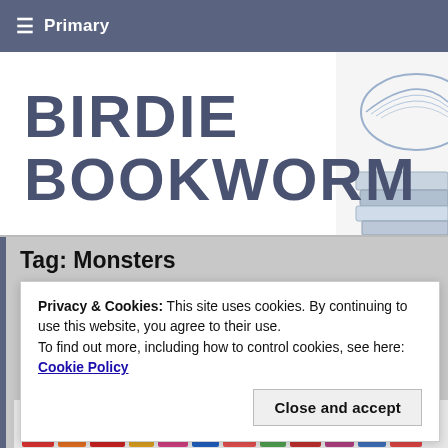≡ Primary
BIRDIE BOOKWORM
Tag: Monsters
Privacy & Cookies: This site uses cookies. By continuing to use this website, you agree to their use.
To find out more, including how to control cookies, see here: Cookie Policy
Close and accept